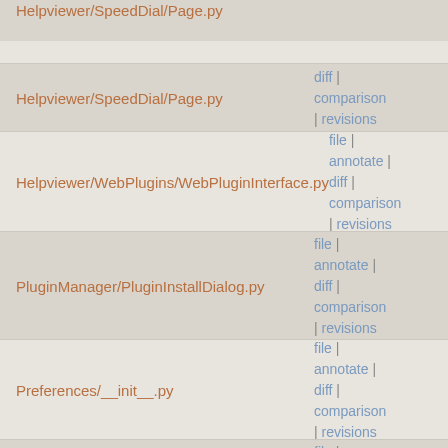Helpviewer/SpeedDial/Page.py | diff | comparison | revisions
Helpviewer/WebPlugins/WebPluginInterface.py | file | annotate | diff | comparison | revisions
PluginManager/PluginInstallDialog.py | file | annotate | diff | comparison | revisions
Preferences/__init__.py | file | annotate | diff | comparison | revisions
Project/Project.py | file | annotate | diff | comparison | revisions
QScintilla/QsciScintillaCompat.py | file | annotate | diff | comparison